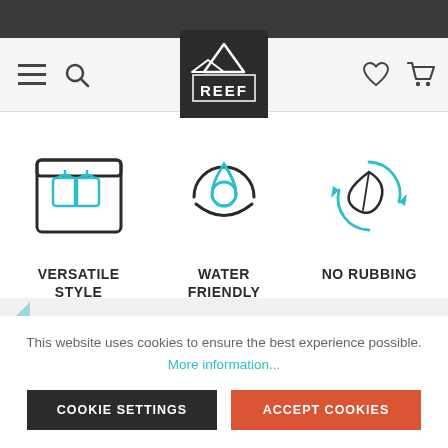[Figure (logo): Reef brand logo — mountain/wave icon above the word REEF in a dark square]
[Figure (infographic): Three product feature icons: 1) Wardrobe/shirts icon labeled VERSATILE STYLE, 2) Water droplet icon labeled WATER FRIENDLY, 3) Recycling leaf icon labeled NO RUBBING]
This website uses cookies to ensure the best experience possible. More information...
COOKIE SETTINGS
ACCEPT COOKIES